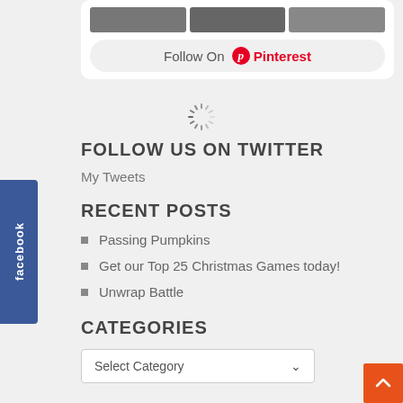[Figure (screenshot): Pinterest images strip and Follow On Pinterest button]
[Figure (other): Loading spinner icon]
FOLLOW US ON TWITTER
My Tweets
RECENT POSTS
Passing Pumpkins
Get our Top 25 Christmas Games today!
Unwrap Battle
CATEGORIES
[Figure (screenshot): Select Category dropdown]